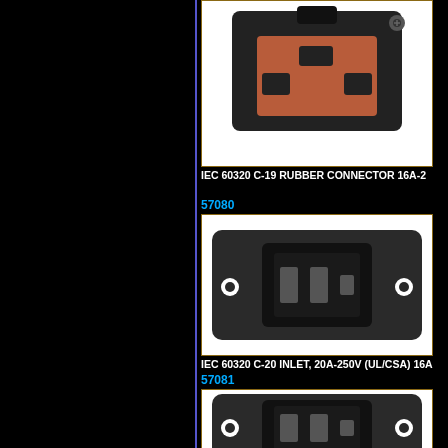[Figure (photo): IEC 60320 C-19 rubber connector, black with brown/copper colored socket face, partial view at top]
IEC 60320 C-19 RUBBER CONNECTOR 16A-2
57080
[Figure (photo): IEC 60320 C-20 panel inlet, black rectangular component with mounting flanges and male pins visible]
IEC 60320 C-20 INLET, 20A-250V (UL/CSA) 16A
57081
[Figure (photo): IEC 60320 C-20 panel inlet, similar to 57080, black rectangular component with mounting flanges and male pins visible]